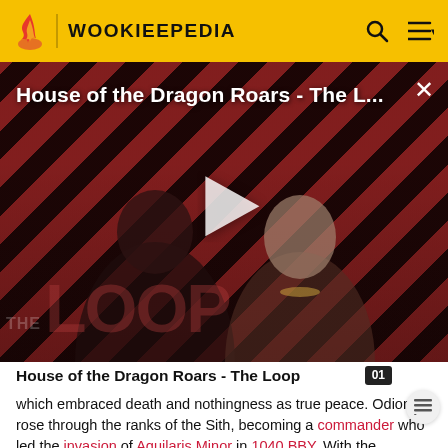WOOKIEEPEDIA
[Figure (screenshot): Video thumbnail for 'House of the Dragon Roars - The L...' with a play button overlay, diagonal red/dark stripe background pattern, and text watermark 'THE LOOP'. Shows two characters in costume. Close (×) button top right.]
House of the Dragon Roars - The Loop
which embraced death and nothingness as true peace. Odion rose through the ranks of the Sith, becoming a commander who led the invasion of Aquilaris Minor in 1040 BBY. With the collapse of the Chagrasian...